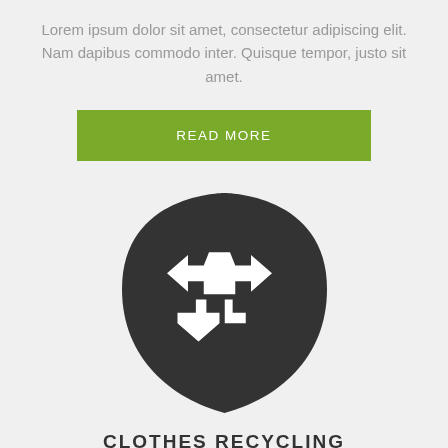Lorem ipsum dolor sit amet, consectetur adipiscing elit. Nam dapibus commodo inter. Quisque tempor, justo sit amet.
READ MORE
[Figure (logo): Dark shield/circle shape with white clothes recycling arrows icon inside]
CLOTHES RECYCLING